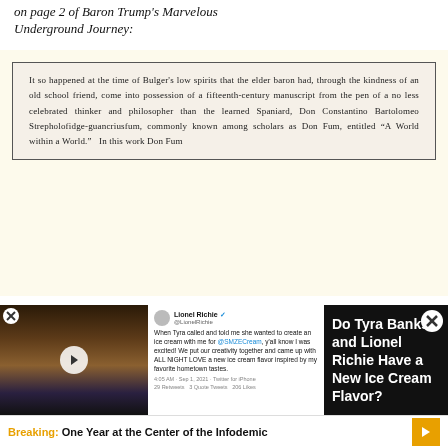on page 2 of Baron Trump's Marvelous Underground Journey:
[Figure (screenshot): Inset box with old-style serif typeset text reading: It so happened at the time of Bulger's low spirits that the elder baron had, through the kindness of an old school friend, come into possession of a fifteenth-century manuscript from the pen of a no less celebrated thinker and philosopher than the learned Spaniard, Don Constantino Bartolomeo Strepholofidge-guancriusfum, commonly known among scholars as Don Fum, entitled "A World within a World." In this work Don Fum]
It so happened at the time of Bulger's low spirits that the elder baron had, through the kindness of
[Figure (screenshot): Video ad popup with photo of Tyra Banks and Lionel Richie on left, tweet screenshot in middle, and text on black background on right: Do Tyra Banks and Lionel Richie Have a New Ice Cream Flavor?]
Breaking: One Year at the Center of the Infodemic